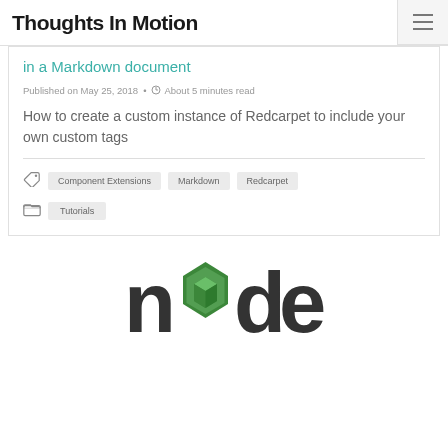Thoughts In Motion
in a Markdown document
Published on May 25, 2018 • About 5 minutes read
How to create a custom instance of Redcarpet to include your own custom tags
Component Extensions
Markdown
Redcarpet
Tutorials
[Figure (logo): Node.js logo: 'node' text with green hexagonal gem replacing the 'o', dark background letters]